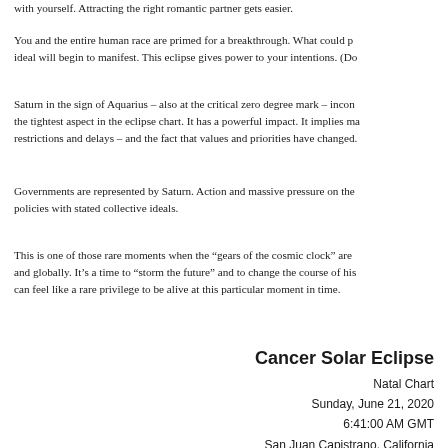with yourself. Attracting the right romantic partner gets easier.
You and the entire human race are primed for a breakthrough. What could p... ideal will begin to manifest. This eclipse gives power to your intentions. (Do...
Saturn in the sign of Aquarius – also at the critical zero degree mark – incon... the tightest aspect in the eclipse chart. It has a powerful impact. It implies ma... restrictions and delays – and the fact that values and priorities have changed.
Governments are represented by Saturn. Action and massive pressure on the... policies with stated collective ideals.
This is one of those rare moments when the "gears of the cosmic clock" are ... and globally. It's a time to "storm the future" and to change the course of his... can feel like a rare privilege to be alive at this particular moment in time.
Cancer Solar Eclipse
Natal Chart
Sunday, June 21, 2020
6:41:00 AM GMT
San Juan Capistrano, California
Tropical    Placidus True Node